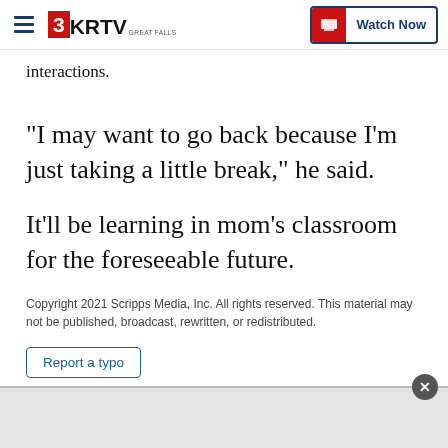3KRTV Great Falls — Watch Now
interactions.
“I may want to go back because I’m just taking a little break,” he said.
It’ll be learning in mom’s classroom for the foreseeable future.
Copyright 2021 Scripps Media, Inc. All rights reserved. This material may not be published, broadcast, rewritten, or redistributed.
Report a typo